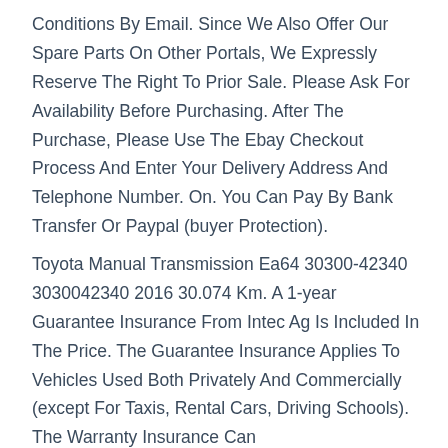Conditions By Email. Since We Also Offer Our Spare Parts On Other Portals, We Expressly Reserve The Right To Prior Sale. Please Ask For Availability Before Purchasing. After The Purchase, Please Use The Ebay Checkout Process And Enter Your Delivery Address And Telephone Number. On. You Can Pay By Bank Transfer Or Paypal (buyer Protection).
Toyota Manual Transmission Ea64 30300-42340 3030042340 2016 30.074 Km. A 1-year Guarantee Insurance From Intec Ag Is Included In The Price. The Guarantee Insurance Applies To Vehicles Used Both Privately And Commercially (except For Taxis, Rental Cars, Driving Schools). The Warranty Insurance Can